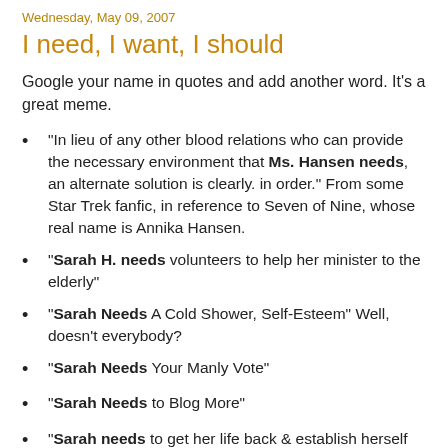Wednesday, May 09, 2007
I need, I want, I should
Google your name in quotes and add another word. It's a great meme.
"In lieu of any other blood relations who can provide the necessary environment that Ms. Hansen needs, an alternate solution is clearly. in order." From some Star Trek fanfic, in reference to Seven of Nine, whose real name is Annika Hansen.
"Sarah H. needs volunteers to help her minister to the elderly"
"Sarah Needs A Cold Shower, Self-Esteem" Well, doesn't everybody?
"Sarah Needs Your Manly Vote"
"Sarah Needs to Blog More"
"Sarah needs to get her life back & establish herself